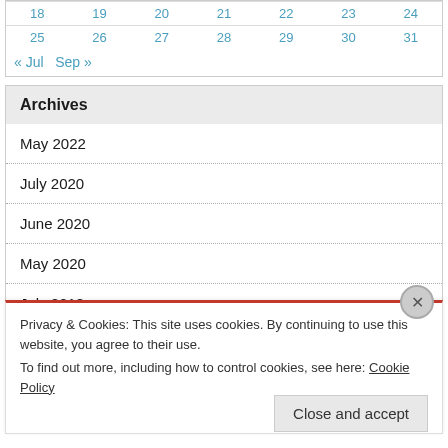| 18 | 19 | 20 | 21 | 22 | 23 | 24 |
| 25 | 26 | 27 | 28 | 29 | 30 | 31 |
« Jul   Sep »
Archives
May 2022
July 2020
June 2020
May 2020
July 2018
Privacy & Cookies: This site uses cookies. By continuing to use this website, you agree to their use.
To find out more, including how to control cookies, see here: Cookie Policy
Close and accept